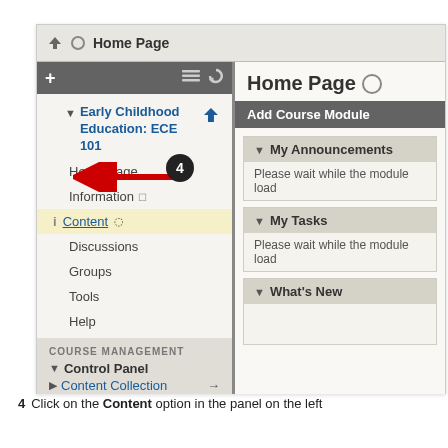[Figure (screenshot): Screenshot of a Learning Management System (Blackboard) showing the course navigation sidebar on the left with Early Childhood Education: ECE 101 menu items including Home Page, Information, Content (highlighted with red arrow and number 4 badge), Discussions, Groups, Tools, Help, and Course Management section with Control Panel and Content Collection. The right panel shows Home Page with Add Course Module bar, My Announcements, My Tasks, and What's New modules.]
4   Click on the Content option in the panel on the left